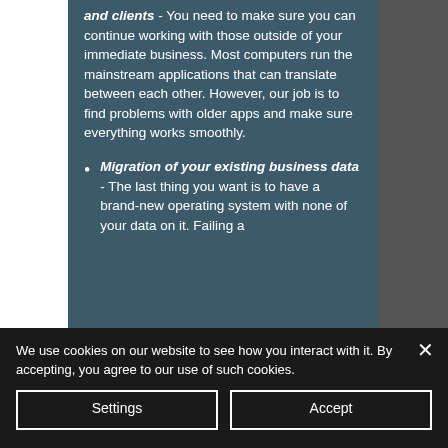and clients - You need to make sure you can continue working with those outside of your immediate business. Most computers run the mainstream applications that can translate between each other. However, our job is to find problems with older apps and make sure everything works smoothly.
Migration of your existing business data - The last thing you want is to have a brand-new operating system with none of your data on it. Failing a
We use cookies on our website to see how you interact with it. By accepting, you agree to our use of such cookies.